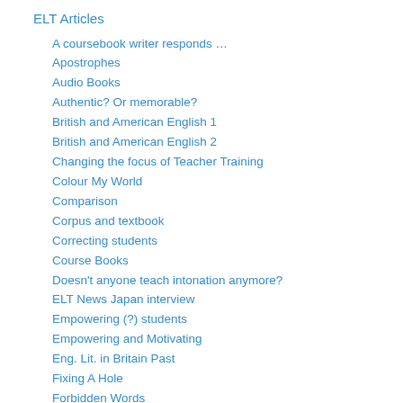ELT Articles
A coursebook writer responds …
Apostrophes
Audio Books
Authentic? Or memorable?
British and American English 1
British and American English 2
Changing the focus of Teacher Training
Colour My World
Comparison
Corpus and textbook
Correcting students
Course Books
Doesn't anyone teach intonation anymore?
ELT News Japan interview
Empowering (?) students
Empowering and Motivating
Eng. Lit. in Britain Past
Fixing A Hole
Forbidden Words